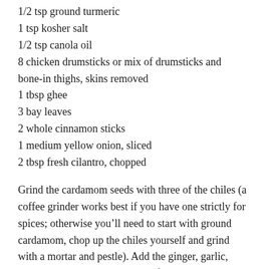1/2 tsp ground turmeric
1 tsp kosher salt
1/2 tsp canola oil
8 chicken drumsticks or mix of drumsticks and bone-in thighs, skins removed
1 tbsp ghee
3 bay leaves
2 whole cinnamon sticks
1 medium yellow onion, sliced
2 tbsp fresh cilantro, chopped
Grind the cardamom seeds with three of the chiles (a coffee grinder works best if you have one strictly for spices; otherwise you’ll need to start with ground cardamom, chop up the chiles yourself and grind with a mortar and pestle). Add the ginger, garlic, turmeric, salt and oil and stir to form a paste. Rub the chicken with the paste and marinate for at least two hours (or for best results overnight).